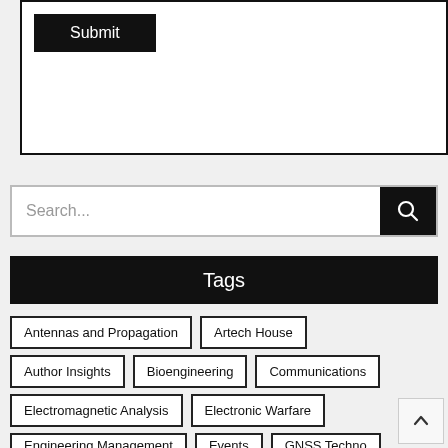[Figure (screenshot): White box with a Submit button (black background, white text) in the upper left corner]
[Figure (screenshot): Search bar with placeholder text 'Search...' and a black search button with magnifying glass icon on the right]
Tags
Antennas and Propagation
Artech House
Author Insights
Bioengineering
Communications
Electromagnetic Analysis
Electronic Warfare
Engineering Management
Events
GNSS Techno...
Microwave and RF
Photonics
Power Engineering...